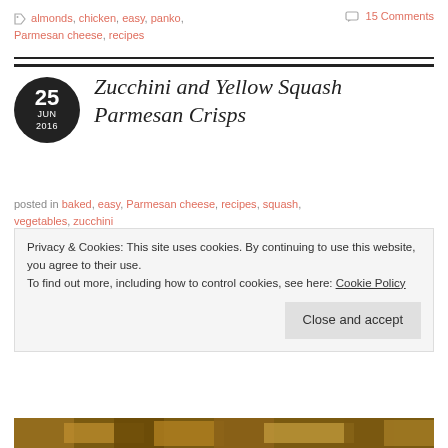🏷 almonds, chicken, easy, panko, Parmesan cheese, recipes   💬 15 Comments
25 JUN 2016 — Zucchini and Yellow Squash Parmesan Crisps
posted in baked, easy, Parmesan cheese, recipes, squash, vegetables, zucchini
Privacy & Cookies: This site uses cookies. By continuing to use this website, you agree to their use. To find out more, including how to control cookies, see here: Cookie Policy
[Figure (photo): Food photo at the bottom of the page showing baked zucchini parmesan crisps]